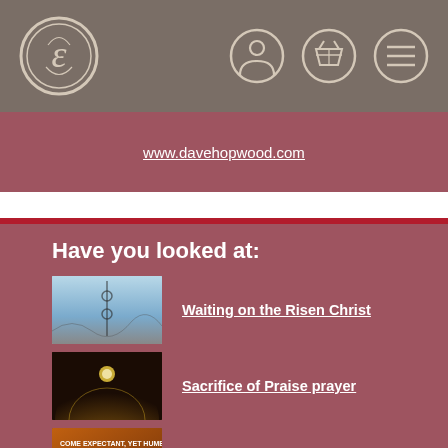[Figure (logo): Ornate circular logo with letter E]
[Figure (illustration): Navigation icons: person, basket, menu]
www.davehopwood.com
Have you looked at:
Waiting on the Risen Christ
Sacrifice of Praise prayer
Immeasurably More prayer
Open Up prayer
'We come to worship' liturgy